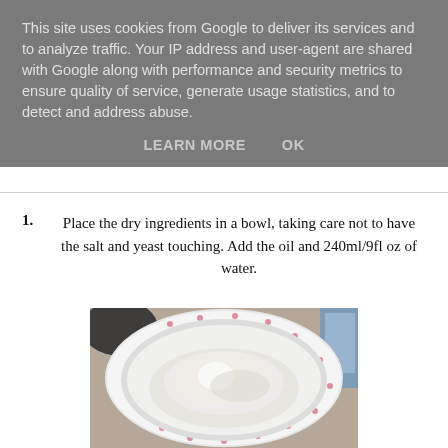This site uses cookies from Google to deliver its services and to analyze traffic. Your IP address and user-agent are shared with Google along with performance and security metrics to ensure quality of service, generate usage statistics, and to detect and address abuse.
LEARN MORE    OK
1. Place the dry ingredients in a bowl, taking care not to have the salt and yeast touching. Add the oil and 240ml/9fl oz of water.
[Figure (photo): A white bowl with pink heart decorations seen from above, containing dry white flour/ingredients on a textured surface with other items visible in the background.]